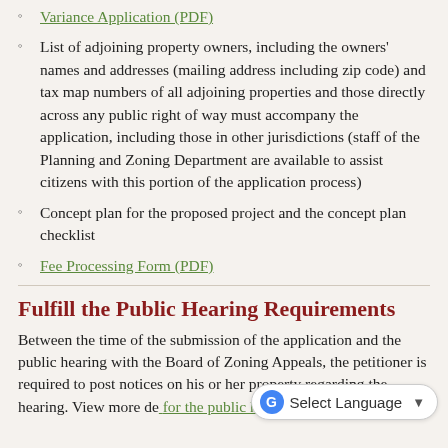Variance Application (PDF)
List of adjoining property owners, including the owners' names and addresses (mailing address including zip code) and tax map numbers of all adjoining properties and those directly across any public right of way must accompany the application, including those in other jurisdictions (staff of the Planning and Zoning Department are available to assist citizens with this portion of the application process)
Concept plan for the proposed project and the concept plan checklist
Fee Processing Form (PDF)
Fulfill the Public Hearing Requirements
Between the time of the submission of the application and the public hearing with the Board of Zoning Appeals, the petitioner is required to post notices on his or her property regarding the hearing. View more details for the public hearing.